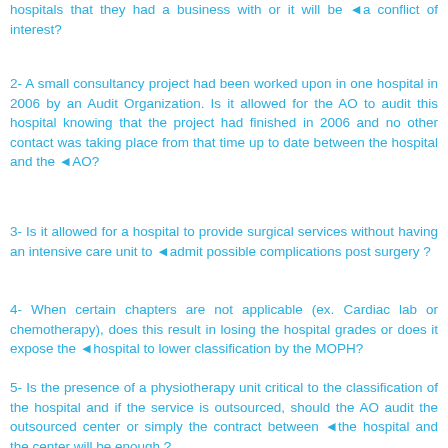hospitals that they had a business with or it will be a conflict of interest?
2- A small consultancy project had been worked upon in one hospital in 2006 by an Audit Organization. Is it allowed for the AO to audit this hospital knowing that the project had finished in 2006 and no other contact was taking place from that time up to date between the hospital and the AO?
3- Is it allowed for a hospital to provide surgical services without having an intensive care unit to admit possible complications post surgery ?
4- When certain chapters are not applicable (ex. Cardiac lab or chemotherapy), does this result in losing the hospital grades or does it expose the hospital to lower classification by the MOPH?
5- Is the presence of a physiotherapy unit critical to the classification of the hospital and if the service is outsourced, should the AO audit the outsourced center or simply the contract between the hospital and the center will be enough ?